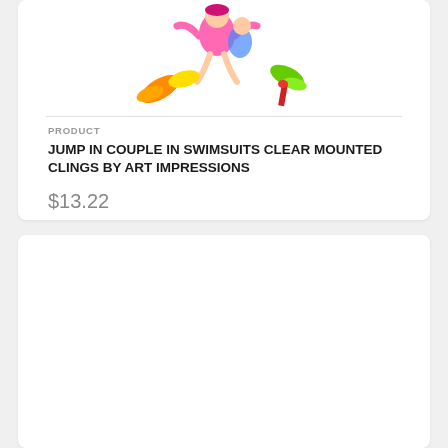[Figure (illustration): Cartoon illustration of a couple in swimsuits jumping, with colorful beach/pool accessories like flippers and umbrellas, on white background]
PRODUCT
JUMP IN COUPLE IN SWIMSUITS CLEAR MOUNTED CLINGS BY ART IMPRESSIONS
$13.22
[Figure (illustration): Sketch/line drawing of people rowing a boat, depicted in a loose hand-drawn style with pencil-like strokes]